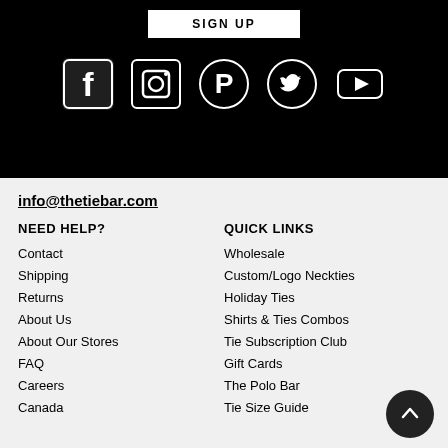[Figure (other): SIGN UP button and social media icons (Facebook, Instagram, Pinterest, Twitter, YouTube) on black background]
info@thetiebar.com
NEED HELP?
QUICK LINKS
Contact
Wholesale
Shipping
Custom/Logo Neckties
Returns
Holiday Ties
About Us
Shirts & Ties Combos
About Our Stores
Tie Subscription Club
FAQ
Gift Cards
Careers
The Polo Bar
Canada
Tie Size Guide